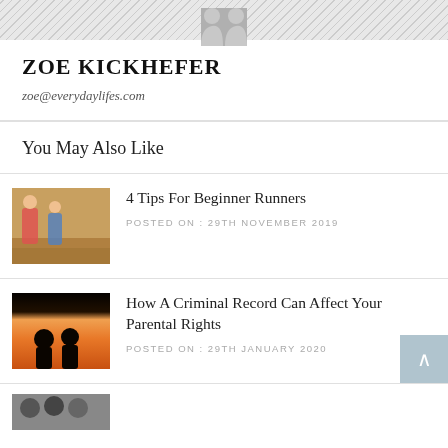ZOE KICKHEFER
zoe@everydaylifes.com
You May Also Like
[Figure (photo): Thumbnail photo of runners in a desert/rocky outdoor setting]
4 Tips For Beginner Runners
POSTED ON : 29TH NOVEMBER 2019
[Figure (photo): Thumbnail photo showing two silhouettes against a sunset/orange sky]
How A Criminal Record Can Affect Your Parental Rights
POSTED ON : 29TH JANUARY 2020
[Figure (photo): Partial thumbnail of a third article at the bottom of the page]